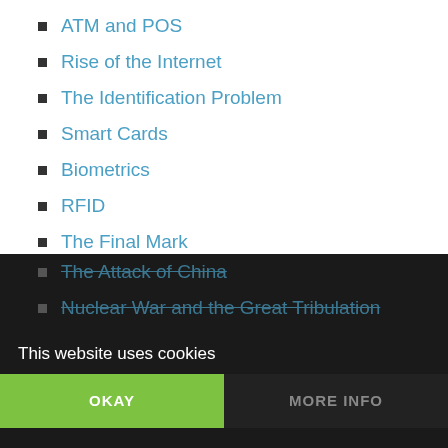ATM and POS
Rise of the Internet
The Identification Problem
Smart Cards
Biometrics
RFID
The Final Mark
Surveillance and Control
World War III
The Abomination of Desolation
The Time of the End
The Attack of Russia
The Battle Begins
The Attack of China
Nuclear War and the Great Tribulation
This website uses cookies
OKAY
MORE INFO